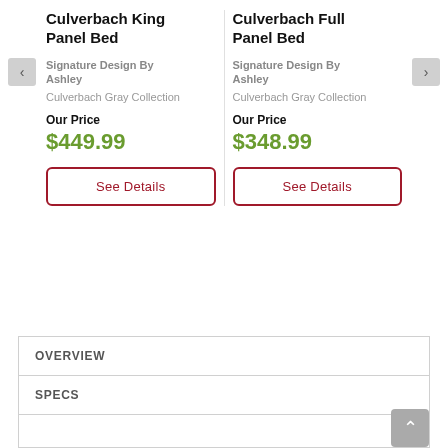Culverbach King Panel Bed
Signature Design By Ashley
Culverbach Gray Collection
Our Price
$449.99
See Details
Culverbach Full Panel Bed
Signature Design By Ashley
Culverbach Gray Collection
Our Price
$348.99
See Details
OVERVIEW
SPECS